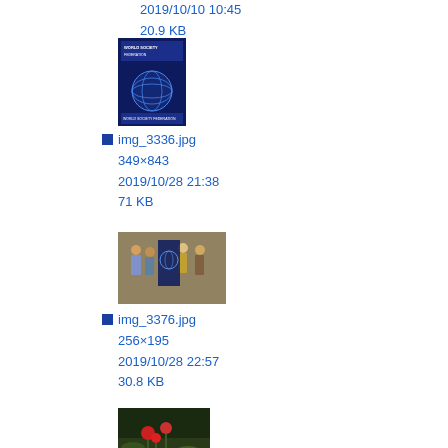2019/10/10 10:43
20.9 KB
[Figure (photo): Thumbnail of img_3336.jpg: World Society Federation banner/poster with globe graphic on blue background]
img_3336.jpg
349×843
2019/10/28 21:38
71 KB
[Figure (photo): Thumbnail of img_3376.jpg: Group of people standing in front of World Society Federation banner]
img_3376.jpg
256×195
2019/10/28 22:57
30.8 KB
[Figure (photo): Thumbnail of next image: Plants with red flowers against dark background]